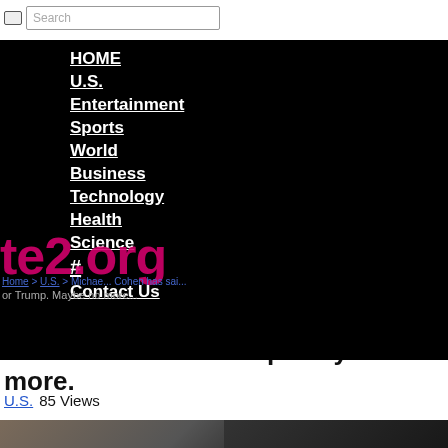Search
[Figure (screenshot): Navigation menu overlay on black background with links: HOME, U.S., Entertainment, Sports, World, Business, Technology, Health, Science, #, Contact Us. A pink/magenta watermark reading 'te2.org' overlays the nav. Breadcrumb and ghost subtitle partially visible.]
Michael Cohen has said he would take a bullet for Trump. Maybe no more.
U.S. 85 Views
[Figure (photo): Partial photo of a person, dark tones, bottom of page]